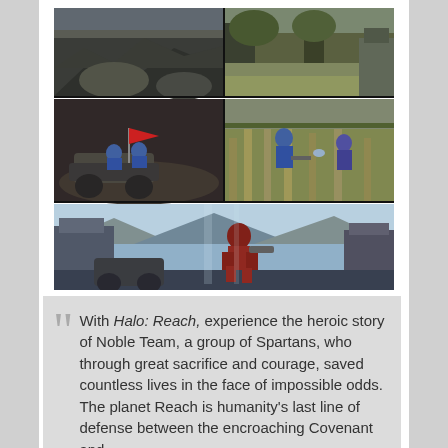[Figure (screenshot): Collage of three Halo: Reach video game screenshots — top row shows two split scenes of outdoor environments, middle row shows vehicle combat and infantry combat scenes, bottom row shows a Spartan leaping in a futuristic indoor environment.]
With Halo: Reach, experience the heroic story of Noble Team, a group of Spartans, who through great sacrifice and courage, saved countless lives in the face of impossible odds. The planet Reach is humanity's last line of defense between the encroaching Covenant and